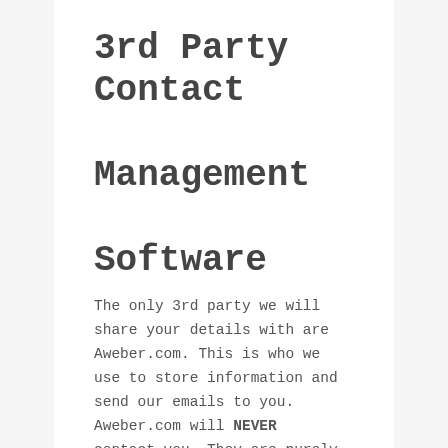3rd Party Contact Management Software
The only 3rd party we will share your details with are Aweber.com. This is who we use to store information and send our emails to you. Aweber.com will NEVER contact you. They are purely